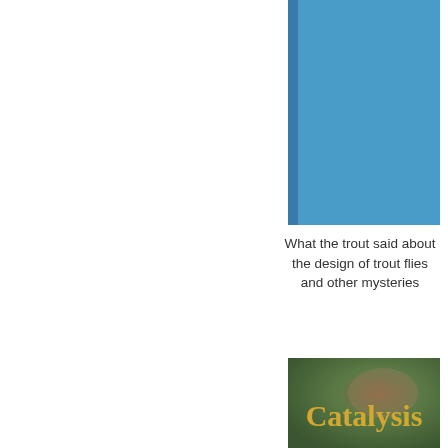[Figure (illustration): Blue book cover thumbnail showing a solid steel-blue rectangle with a darker blue spine strip on the left side]
What the trout said about the design of trout flies and other mysteries
[Figure (illustration): Book cover for 'Catalysis' with a multicolored green, brown, and purple background with the word 'Catalysis' written in large gold/yellow serif font]